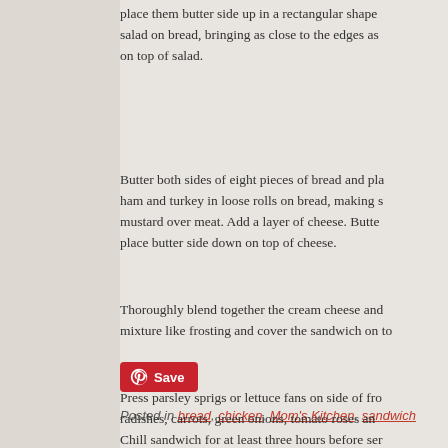place them butter side up in a rectangular shape salad on bread, bringing as close to the edges as on top of salad.
Butter both sides of eight pieces of bread and place ham and turkey in loose rolls on bread, making s mustard over meat. Add a layer of cheese. Butter place butter side down on top of cheese.
Thoroughly blend together the cream cheese and mixture like frosting and cover the sandwich on top.
Press parsley sprigs or lettuce fans on side of frosting radishes, carrots, green onions, tomato roses and Chill sandwich for at least three hours before serving.
[Figure (other): Pinterest Save button - red button with Pinterest logo and Save text]
Posted in bread, chicken, Mom's Kitchen, sandwich